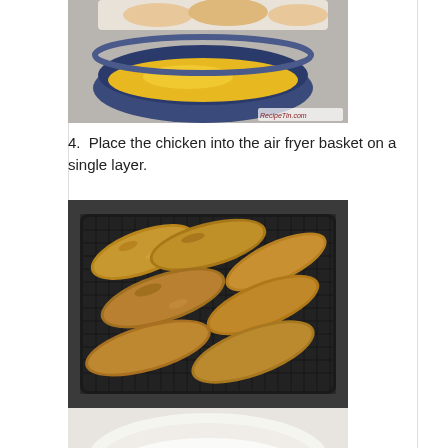[Figure (photo): A blue bowl with beaten egg/egg wash and raw chicken pieces on a plate partially visible above, with RecipeTin.com watermark in corner]
4. Place the chicken into the air fryer basket on a single layer.
[Figure (photo): Breaded chicken tenders arranged in a single layer inside a black square air fryer basket with mesh bottom]
[Figure (photo): Partial view of a white bowl with what appears to be flour or breadcrumbs, cut off at bottom of page]